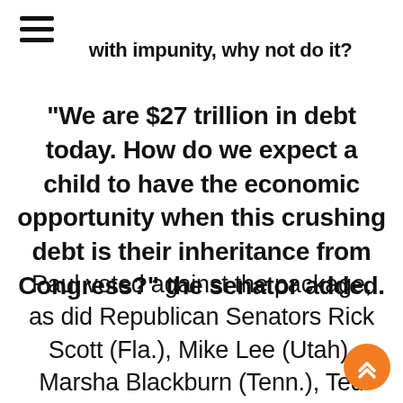[Figure (other): Hamburger menu icon (three horizontal lines)]
with impunity, why not do it?
“We are $27 trillion in debt today. How do we expect a child to have the economic opportunity when this crushing debt is their inheritance from Congress?” the senator added.
Paul voted against the package, as did Republican Senators Rick Scott (Fla.), Mike Lee (Utah), Marsha Blackburn (Tenn.), Ted Cruz (Tex.) and Ron Johnson (Wis.).
[Figure (other): Orange circular scroll-to-top button with double up chevron icon]